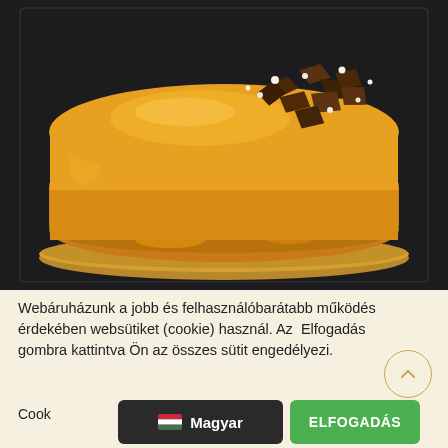[Figure (photo): A round caramel/toffee glazed cake on a gold board, decorated with chocolate pieces and white sugar pearls on top, placed on a dark background.]
Webáruházunk a jobb és felhasználóbarátabb működés érdekében websütiket (cookie) használ. Az  Elfogadás gombra kattintva Ön az összes sütit engedélyezi.
Cook
Magyar
ELFOGADÁS